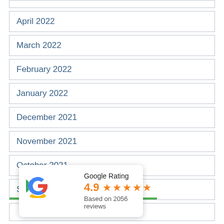April 2022
March 2022
February 2022
January 2022
December 2021
November 2021
October 2021
September 2021
[Figure (infographic): Google Rating popup showing 4.9 stars based on 2056 reviews with Google G logo]
June 2021